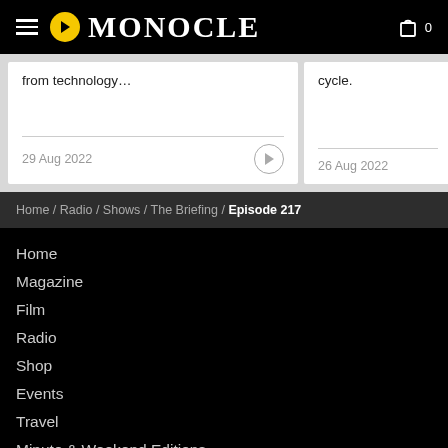MONOCLE
from technology…
29 Aug 2022
cycle.
26 Aug 2022
Home / Radio / Shows / The Briefing / Episode 217
Home
Magazine
Film
Radio
Shop
Events
Travel
Minute & Weekend Editions
The Monocle Café – London
Affairs